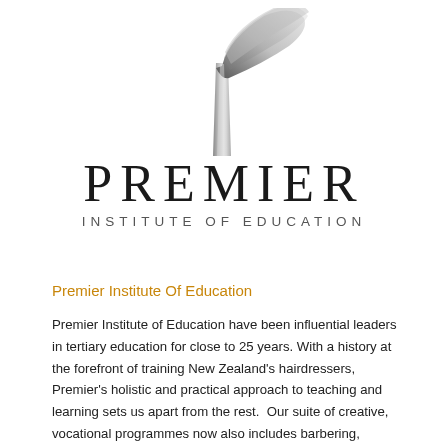[Figure (logo): Premier Institute of Education logo: stylized metallic P letterform above the word PREMIER in large serif capitals with INSTITUTE OF EDUCATION in spaced sans-serif below]
Premier Institute Of Education
Premier Institute of Education have been influential leaders in tertiary education for close to 25 years. With a history at the forefront of training New Zealand's hairdressers, Premier's holistic and practical approach to teaching and learning sets us apart from the rest.  Our suite of creative, vocational programmes now also includes barbering, beauty therapy